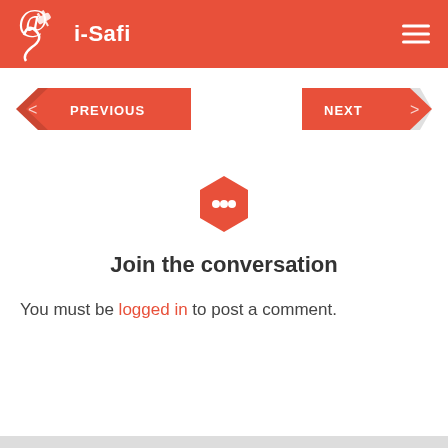i-Safi
[Figure (other): Navigation buttons: PREVIOUS (left arrow) on the left and NEXT (right arrow) on the right, both with red arrow-shaped backgrounds]
[Figure (other): Red hexagon icon with white speech bubble / comment icon inside]
Join the conversation
You must be logged in to post a comment.